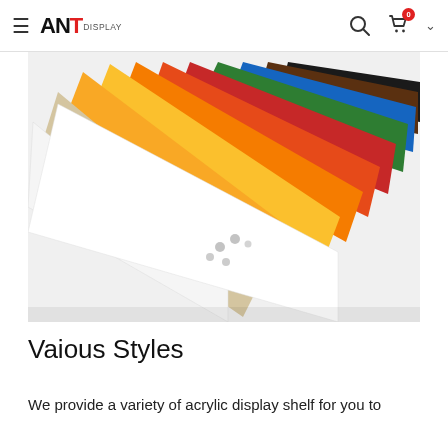ANT DISPLAY
[Figure (photo): Fan arrangement of colorful acrylic sheets in white, cream, yellow, orange, red, blue, green, dark brown/black colors, viewed from above at an angle on a white background]
Vaious Styles
We provide a variety of acrylic display shelf for you to